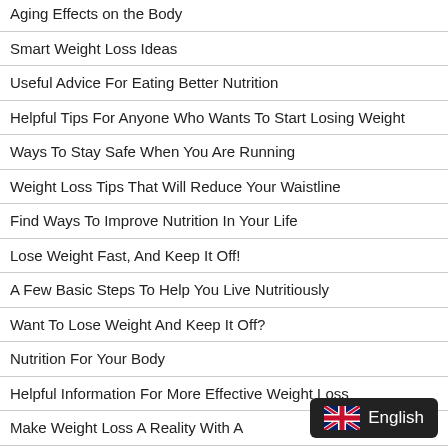Aging Effects on the Body
Smart Weight Loss Ideas
Useful Advice For Eating Better Nutrition
Helpful Tips For Anyone Who Wants To Start Losing Weight
Ways To Stay Safe When You Are Running
Weight Loss Tips That Will Reduce Your Waistline
Find Ways To Improve Nutrition In Your Life
Lose Weight Fast, And Keep It Off!
A Few Basic Steps To Help You Live Nutritiously
Want To Lose Weight And Keep It Off?
Nutrition For Your Body
Helpful Information For More Effective Weight Loss
Make Weight Loss A Reality With A…
Get The Best Nutrition Advice Right Here